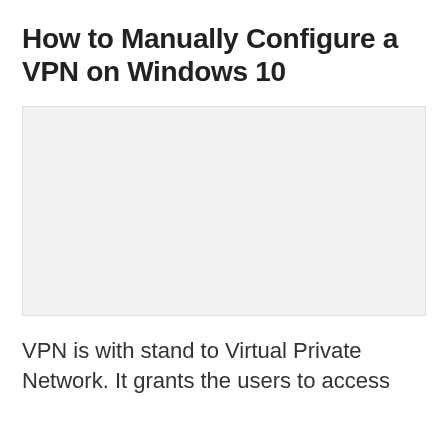How to Manually Configure a VPN on Windows 10
[Figure (screenshot): Screenshot placeholder image, light grey background]
VPN is with stand to Virtual Private Network. It grants the users to access